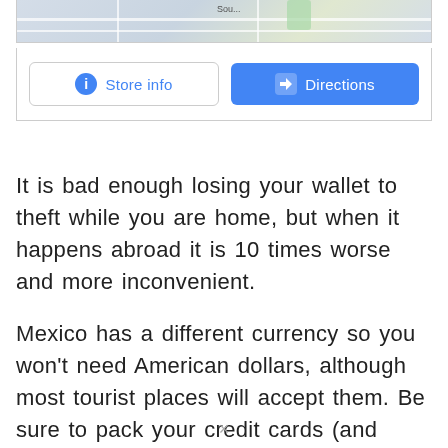[Figure (screenshot): Partial Google Maps view with street map visible at top]
[Figure (screenshot): UI buttons: 'Store info' (outlined, blue icon) and 'Directions' (filled blue button with arrow icon)]
It is bad enough losing your wallet to theft while you are home, but when it happens abroad it is 10 times worse and more inconvenient.
Mexico has a different currency so you won't need American dollars, although most tourist places will accept them. Be sure to pack your credit cards (and don't forget to let your credit card company know you'll be traveling ahead of time)